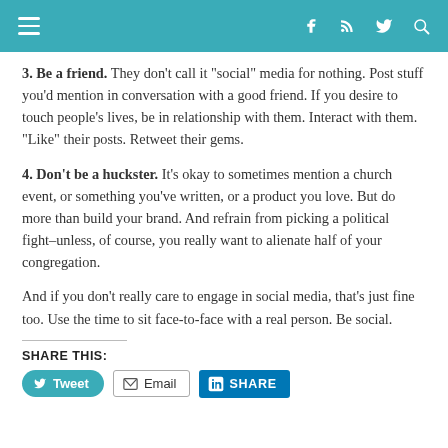Navigation bar with menu, facebook, rss, twitter, search icons
3. Be a friend. They don’t call it “social” media for nothing. Post stuff you’d mention in conversation with a good friend. If you desire to touch people’s lives, be in relationship with them. Interact with them. “Like” their posts. Retweet their gems.
4. Don’t be a huckster. It’s okay to sometimes mention a church event, or something you’ve written, or a product you love. But do more than build your brand. And refrain from picking a political fight–unless, of course, you really want to alienate half of your congregation.
And if you don’t really care to engage in social media, that’s just fine too. Use the time to sit face-to-face with a real person. Be social.
SHARE THIS:
Tweet  Email  SHARE